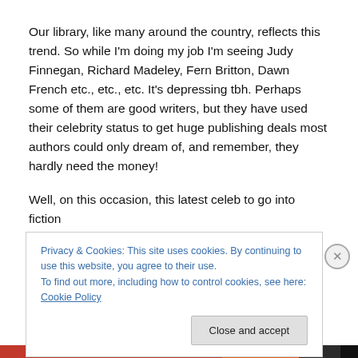Our library, like many around the country, reflects this trend. So while I'm doing my job I'm seeing Judy Finnegan, Richard Madeley, Fern Britton, Dawn French etc., etc., etc. It's depressing tbh. Perhaps some of them are good writers, but they have used their celebrity status to get huge publishing deals most authors could only dream of, and remember, they hardly need the money!

Well, on this occasion, this latest celeb to go into fiction
Privacy & Cookies: This site uses cookies. By continuing to use this website, you agree to their use.
To find out more, including how to control cookies, see here: Cookie Policy